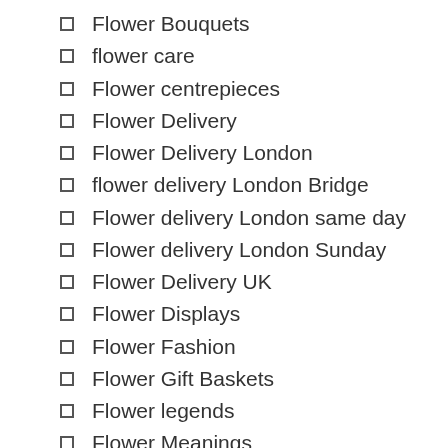Flower Bouquets
flower care
Flower centrepieces
Flower Delivery
Flower Delivery London
flower delivery London Bridge
Flower delivery London same day
Flower delivery London Sunday
Flower Delivery UK
Flower Displays
Flower Fashion
Flower Gift Baskets
Flower legends
Flower Meanings
Flower News
Flower Pairings Bouquets
Flower Shows